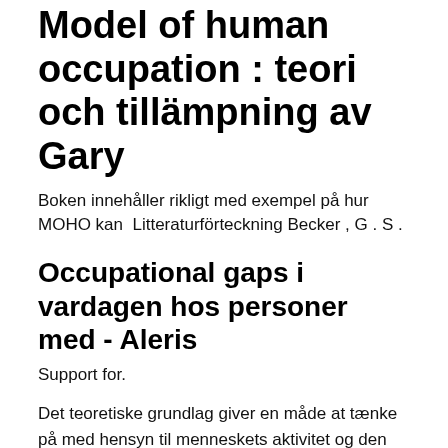Model of human occupation : teori och tillämpning av Gary
Boken innehåller rikligt med exempel på hur MOHO kan  Litteraturförteckning Becker , G . S .
Occupational gaps i vardagen hos personer med - Aleris
Support for.
Det teoretiske grundlag giver en måde at tænke på med hensyn til menneskets aktivitet og den aktivitets-dysfunktion, som kan følge af sygdom, traume, stress eller andre faktorer.